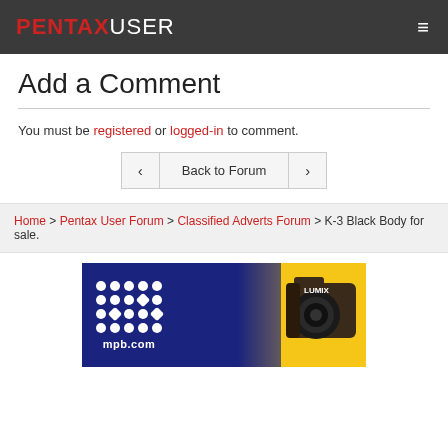PENTAXUSER
Add a Comment
You must be registered or logged-in to comment.
Back to Forum
Home > Pentax User Forum > Classified Adverts Forum > K-3 Black Body for sale.
[Figure (photo): mpb.com advertisement banner showing logo dots pattern on blue background with Panasonic Lumix camera on yellow background]